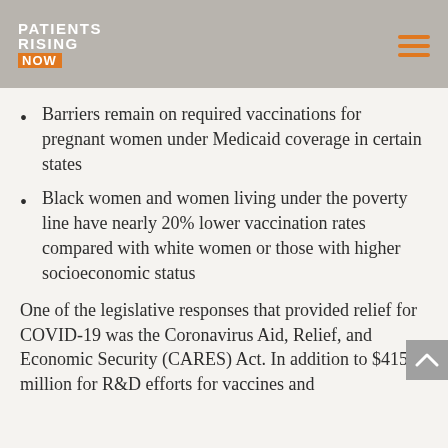PATIENTS RISING NOW
Barriers remain on required vaccinations for pregnant women under Medicaid coverage in certain states
Black women and women living under the poverty line have nearly 20% lower vaccination rates compared with white women or those with higher socioeconomic status
One of the legislative responses that provided relief for COVID-19 was the Coronavirus Aid, Relief, and Economic Security (CARES) Act. In addition to $415 million for R&D efforts for vaccines and…